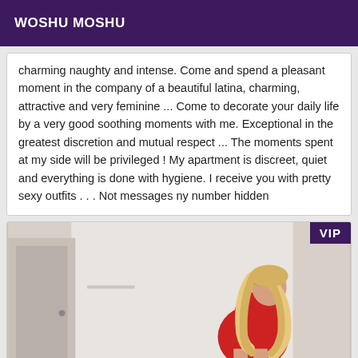WOSHU MOSHU
charming naughty and intense. Come and spend a pleasant moment in the company of a beautiful latina, charming, attractive and very feminine ... Come to decorate your daily life by a very good soothing moments with me. Exceptional in the greatest discretion and mutual respect ... The moments spent at my side will be privileged ! My apartment is discreet, quiet and everything is done with hygiene. I receive you with pretty sexy outfits . . . Not messages ny number hidden
[Figure (photo): A woman with long blonde wavy hair wearing a red outfit, posing in an interior room. A VIP badge is shown in the top right corner of the image card.]